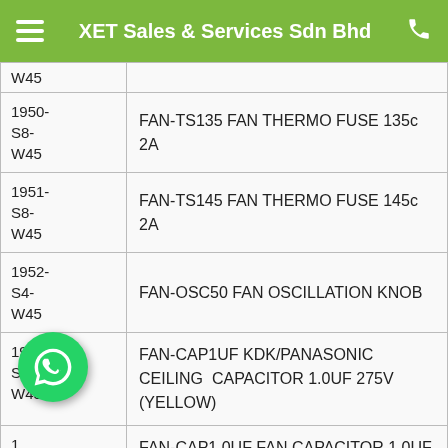XET Sales & Services Sdn Bhd
| Code | Description |
| --- | --- |
| (prev row partial) |  |
| 1950-S8-W45 | FAN-TS135 FAN THERMO FUSE 135c 2A |
| 1951-S8-W45 | FAN-TS145 FAN THERMO FUSE 145c 2A |
| 1952-S4-W45 | FAN-OSC50 FAN OSCILLATION KNOB |
| 1953-S13-W45 | FAN-CAP1UF KDK/PANASONIC CEILING CAPACITOR 1.0UF 275V (YELLOW) |
| (partial) | FAN-CAP1.0UF FAN CAPACITOR 1.0UF 450V |